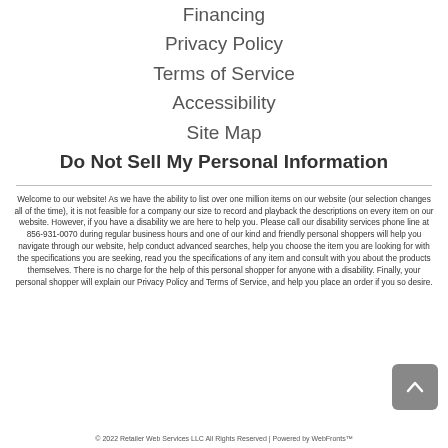Financing
Privacy Policy
Terms of Service
Accessibility
Site Map
Do Not Sell My Personal Information
Welcome to our website! As we have the ability to list over one million items on our website (our selection changes all of the time), it is not feasible for a company our size to record and playback the descriptions on every item on our website. However, if you have a disability we are here to help you. Please call our disability services phone line at 856-931-0070 during regular business hours and one of our kind and friendly personal shoppers will help you navigate through our website, help conduct advanced searches, help you choose the item you are looking for with the specifications you are seeking, read you the specifications of any item and consult with you about the products themselves. There is no charge for the help of this personal shopper for anyone with a disability. Finally, your personal shopper will explain our Privacy Policy and Terms of Service, and help you place an order if you so desire.
© 2022 Retailer Web Services LLC All Rights Reserved | Powered by WebFronts™